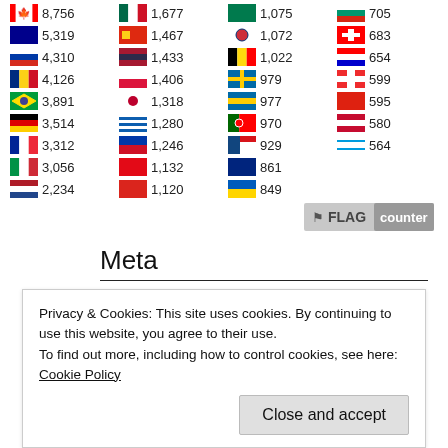[Figure (table-as-image): Flag counter widget showing country flags with visitor counts in a 4-column grid layout]
Meta
Log in
Privacy & Cookies: This site uses cookies. By continuing to use this website, you agree to their use. To find out more, including how to control cookies, see here: Cookie Policy
Close and accept